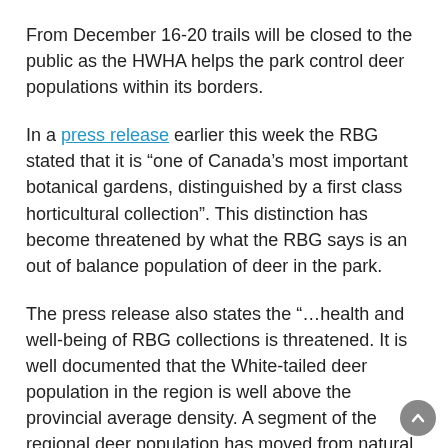From December 16-20 trails will be closed to the public as the HWHA helps the park control deer populations within its borders.
In a press release earlier this week the RBG stated that it is “one of Canada’s most important botanical gardens, distinguished by a first class horticultural collection”. This distinction has become threatened by what the RBG says is an out of balance population of deer in the park.
The press release also states the “…health and well-being of RBG collections is threatened. It is well documented that the White-tailed deer population in the region is well above the provincial average density. A segment of the regional deer population has moved from natural food plants to collections material in the arboretum resulting in significant